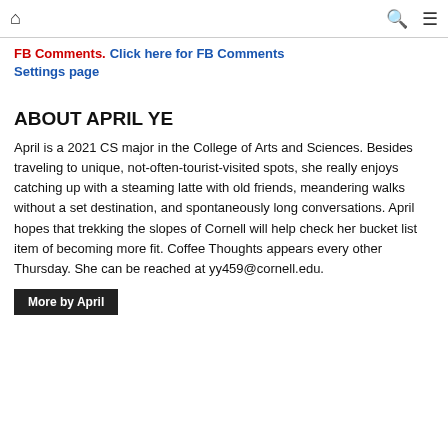🏠 🔍 ≡
FB Comments. Click here for FB Comments Settings page
ABOUT APRIL YE
April is a 2021 CS major in the College of Arts and Sciences. Besides traveling to unique, not-often-tourist-visited spots, she really enjoys catching up with a steaming latte with old friends, meandering walks without a set destination, and spontaneously long conversations. April hopes that trekking the slopes of Cornell will help check her bucket list item of becoming more fit. Coffee Thoughts appears every other Thursday. She can be reached at yy459@cornell.edu.
More by April